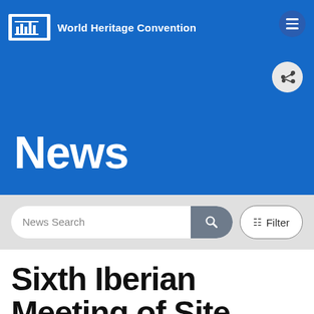UNESCO World Heritage Convention
News
News Search
Filter
Sixth Iberian Meeting of Site Managers Santiago